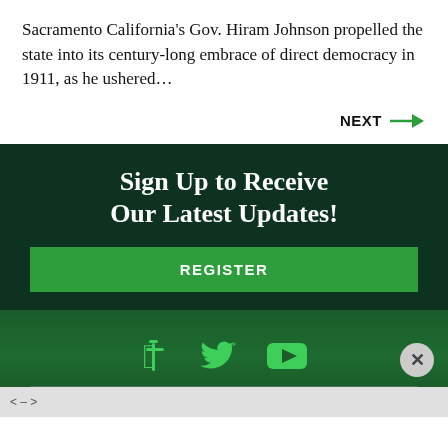Sacramento California's Gov. Hiram Johnson propelled the state into its century-long embrace of direct democracy in 1911, as he ushered…
NEXT →
Sign Up to Receive Our Latest Updates!
REGISTER
[Figure (illustration): Social media icons: Facebook, Twitter, YouTube on dark green background]